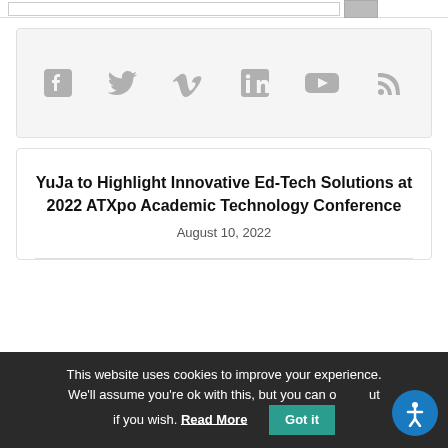[Figure (infographic): Social media icons row: Facebook, Twitter, Vimeo, LinkedIn, YouTube, RSS feed icons in gray on light gray background]
YuJa to Highlight Innovative Ed-Tech Solutions at 2022 ATXpo Academic Technology Conference
August 10, 2022
This website uses cookies to improve your experience. We'll assume you're ok with this, but you can opt out if you wish. Read More
Got it